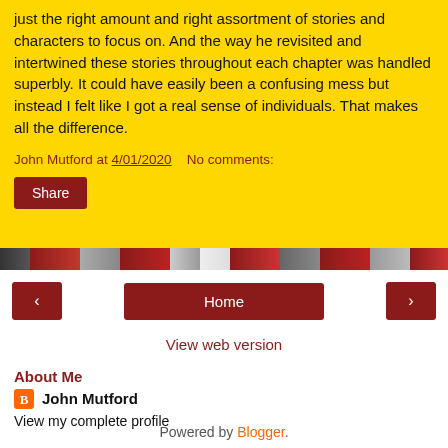just the right amount and right assortment of stories and characters to focus on. And the way he revisited and intertwined these stories throughout each chapter was handled superbly. It could have easily been a confusing mess but instead I felt like I got a real sense of individuals. That makes all the difference.
John Mutford at 4/01/2020    No comments:
Share
[Figure (photo): Horizontal strip of book cover thumbnails in red and dark tones]
‹    Home    ›
View web version
About Me
John Mutford
View my complete profile
Powered by Blogger.